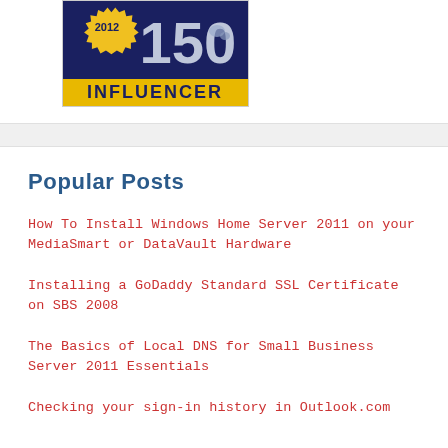[Figure (logo): 2012 Top 150 Influencer badge/award logo with dark blue background, yellow starburst with '2012' text, large '150' text, and 'INFLUENCER' in yellow text on dark blue banner]
Popular Posts
How To Install Windows Home Server 2011 on your MediaSmart or DataVault Hardware
Installing a GoDaddy Standard SSL Certificate on SBS 2008
The Basics of Local DNS for Small Business Server 2011 Essentials
Checking your sign-in history in Outlook.com